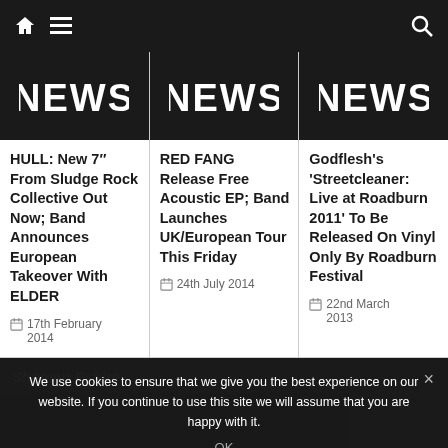Navigation bar with home, menu, and search icons
[Figure (screenshot): Three NEWS banner images in black with distressed white text]
HULL: New 7″ From Sludge Rock Collective Out Now; Band Announces European Takeover With ELDER
17th February 2014
RED FANG Release Free Acoustic EP; Band Launches UK/European Tour This Friday
24th July 2014
Godflesh’s ‘Streetcleaner: Live at Roadburn 2011’ To Be Released On Vinyl Only By Roadburn Festival
22nd March 2013
ShamanEshire
We use cookies to ensure that we give you the best experience on our website. If you continue to use this site we will assume that you are happy with it.
OK